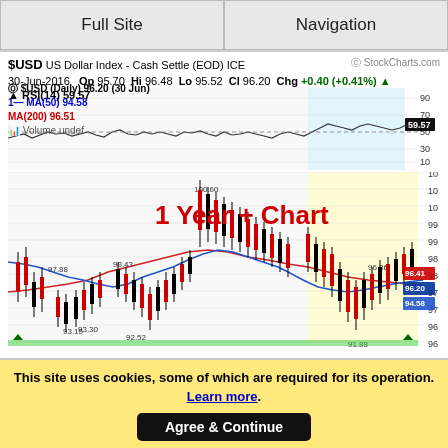Full Site | Navigation
[Figure (continuous-plot): USD US Dollar Index - Cash Settle (EOD) ICE chart from StockCharts.com. Date: 30-Jun-2016. Op 95.70 Hi 96.48 Lo 95.52 Cl 96.20 Chg +0.40 (+0.41%). RSI(14) 59.57 shown in top panel. Main candlestick chart (Daily) with MA(50) 94.58 in blue and MA(200) 96.51 in red. Price range approximately 91.5 to 101.0. Key price labels: 100.60, 98.43, 97.88, 96.86, 96.41, 96.20, 94.58, 93.15, 93.30, 92.52, 91.88. Yellow shaded region on right side. Light blue shaded region on top right of RSI panel. Overlay text in red: '1 Year + Chart'.]
This site uses cookies, some of which are required for its operation. Learn more. Agree & Continue